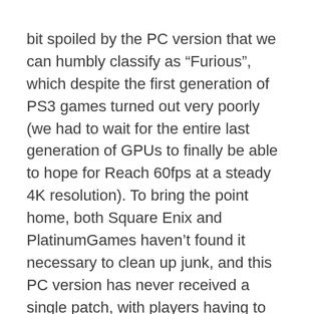bit spoiled by the PC version that we can humbly classify as “Furious”, which despite the first generation of PS3 games turned out very poorly (we had to wait for the entire last generation of GPUs to finally be able to hope for Reach 60fps at a steady 4K resolution). To bring the point home, both Square Enix and PlatinumGames haven’t found it necessary to clean up junk, and this PC version has never received a single patch, with players having to resort to a mod in hopes of saving the furniture.
However, like a summer Christmas miracle, Square will finally decide to release a patch for the game, more than four years after release, which should be kind of an all-time high. Due to arrive tomorrow, will add s options to adjust the filePeripheral obstruction The global lighting and therefinement (Unnecessary heavy